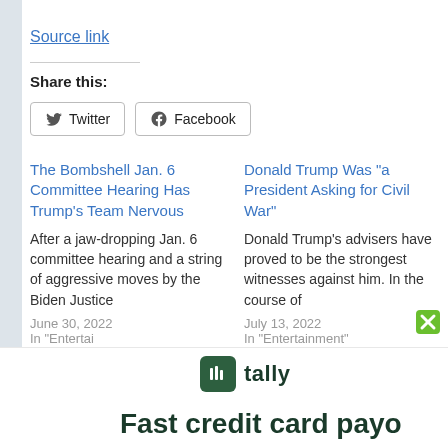Source link
Share this:
Twitter  Facebook
The Bombshell Jan. 6 Committee Hearing Has Trump's Team Nervous
After a jaw-dropping Jan. 6 committee hearing and a string of aggressive moves by the Biden Justice
June 30, 2022
In "Entertai
Donald Trump Was “a President Asking for Civil War”
Donald Trump’s advisers have proved to be the strongest witnesses against him. In the course of
July 13, 2022
In "Entertainment"
FBI raid adc
Donald Tru
[Figure (screenshot): Tally advertisement banner at bottom of page showing Tally logo (green rounded square with bar chart icon and 'tally' text) and tagline 'Fast credit card payo' with a green X close button]